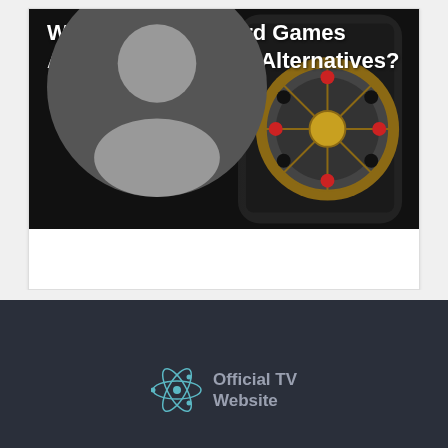[Figure (photo): Article card with dark hero image showing a roulette wheel on a smartphone, with bold white title text overlay: 'Why Are Online Card Games Advantageous Over Alternatives?' and a user avatar icon below the title.]
[Figure (logo): Official TV Website logo: atom/orbit icon in teal with text 'Official TV Website' in grey on dark background.]
Proudly powered by WordPress | Theme: Newsup by Themeans
Home   Privacy Policy   Disclaimer